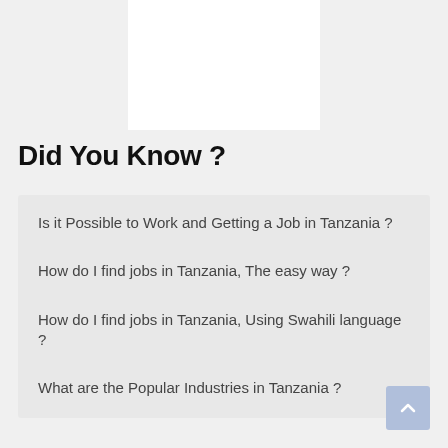[Figure (photo): White image/banner placeholder at the top center of the page]
Did You Know ?
Is it Possible to Work and Getting a Job in Tanzania ?
How do I find jobs in Tanzania, The easy way ?
How do I find jobs in Tanzania, Using Swahili language ?
What are the Popular Industries in Tanzania ?